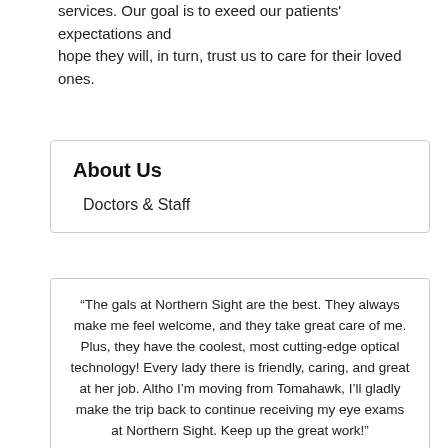services. Our goal is to exeed our patients' expectations and hope they will, in turn, trust us to care for their loved ones.
About Us
Doctors & Staff
“The gals at Northern Sight are the best. They always make me feel welcome, and they take great care of me. Plus, they have the coolest, most cutting-edge optical technology! Every lady there is friendly, caring, and great at her job. Altho I’m moving from Tomahawk, I’ll gladly make the trip back to continue receiving my eye exams at Northern Sight. Keep up the great work!”